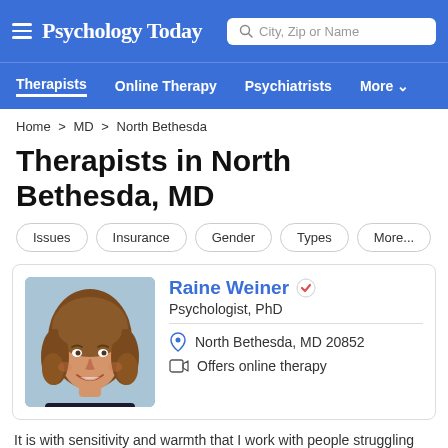Psychology Today
Therapists | Online Therapy | Psychiatrists | More
Home > MD > North Bethesda
Therapists in North Bethesda, MD
Issues
Insurance
Gender
Types
More...
Raine Weiner, Psychologist, PhD — North Bethesda, MD 20852 — Offers online therapy
[Figure (photo): Headshot photo of Raine Weiner, a woman with curly brown hair, smiling, wearing a dark top against a light blue background]
It is with sensitivity and warmth that I work with people struggling with such issues as depression, anxiety, eating disorders, relationship difficulties, life transitions, and family